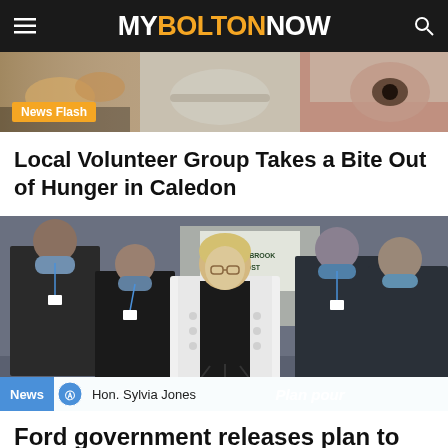MY BOLTON NOW
[Figure (photo): News Flash banner image showing food items and a close-up of a person's eye]
News Flash
Local Volunteer Group Takes a Bite Out of Hunger in Caledon
[Figure (photo): Press conference scene with Hon. Sylvia Jones at a podium, surrounded by masked healthcare workers in scrubs. Blue banner reads Plan to / Plan pour]
News  Hon. Sylvia Jones
Ford government releases plan to address